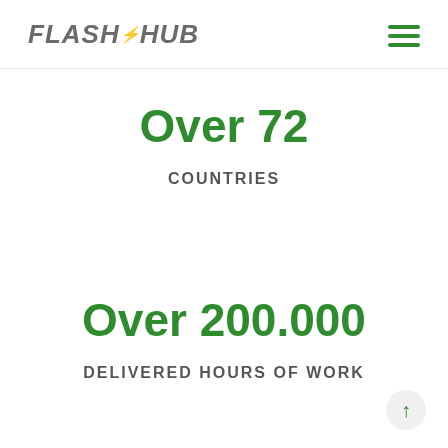FLASH HUB
Over 72
COUNTRIES
Over 200.000
DELIVERED HOURS OF WORK